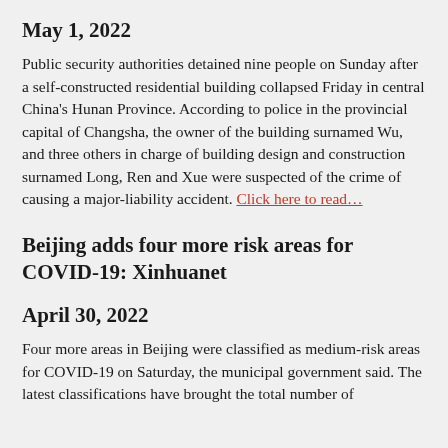May 1, 2022
Public security authorities detained nine people on Sunday after a self-constructed residential building collapsed Friday in central China's Hunan Province. According to police in the provincial capital of Changsha, the owner of the building surnamed Wu, and three others in charge of building design and construction surnamed Long, Ren and Xue were suspected of the crime of causing a major-liability accident. Click here to read…
Beijing adds four more risk areas for COVID-19: Xinhuanet
April 30, 2022
Four more areas in Beijing were classified as medium-risk areas for COVID-19 on Saturday, the municipal government said. The latest classifications have brought the total number of